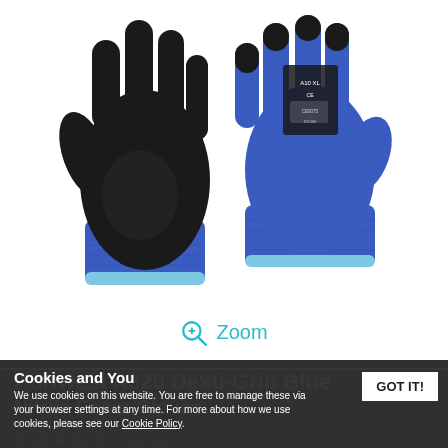[Figure (photo): Two work gloves: left glove shown palm side (black PU coating on palm, blue knit back), right glove shown back side (blue knit with label details). Both have blue cuffs with light blue trim.]
Zoom
Portwest A320 Dexti-Grip Blue Nitrile Foam Gloves
Cookies and You
We use cookies on this website. You are free to manage these via your browser settings at any time. For more about how we use cookies, please see our Cookie Policy.
(1 Review)